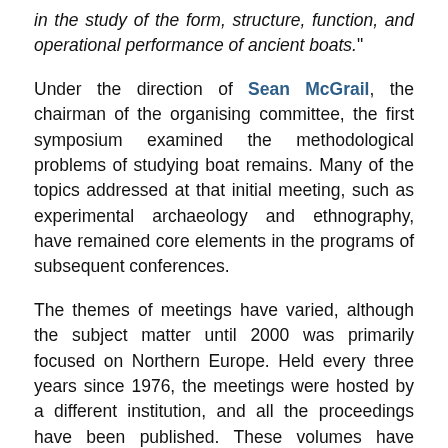in the study of the form, structure, function, and operational performance of ancient boats."
Under the direction of Sean McGrail, the chairman of the organising committee, the first symposium examined the methodological problems of studying boat remains. Many of the topics addressed at that initial meeting, such as experimental archaeology and ethnography, have remained core elements in the programs of subsequent conferences.
The themes of meetings have varied, although the subject matter until 2000 was primarily focused on Northern Europe. Held every three years since 1976, the meetings were hosted by a different institution, and all the proceedings have been published. These volumes have become not only sources of much useful information for scholars of the history of shipbuilding, but also...